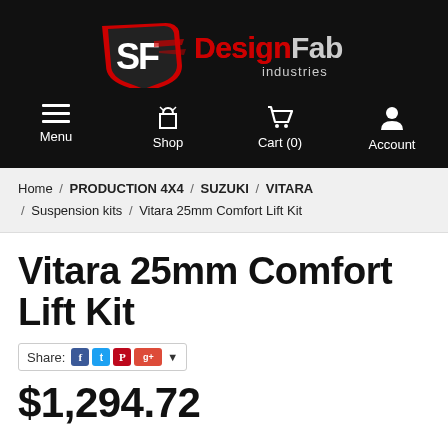[Figure (logo): DesignFab Industries logo — stylized SF shield emblem in red and white on black background, with 'DesignFab industries' text in red and grey]
Menu  Shop  Cart (0)  Account
Home / PRODUCTION 4X4 / SUZUKI / VITARA / Suspension kits / Vitara 25mm Comfort Lift Kit
Vitara 25mm Comfort Lift Kit
Share: [Facebook] [Twitter] [Pinterest] [Google+]
$1,294.72